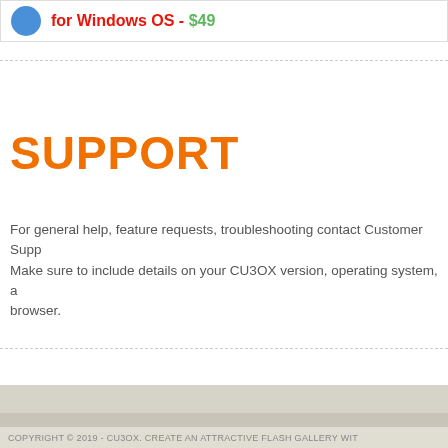[Figure (screenshot): Top product banner with icon, red text 'for Windows OS' and green price '$49', partially cropped on right]
SUPPORT
For general help, feature requests, troubleshooting contact Customer Support. Make sure to include details on your CU3OX version, operating system, a browser.
COPYRIGHT © 2019 - CU3OX. CREATE AN ATTRACTIVE FLASH GALLERY WIT